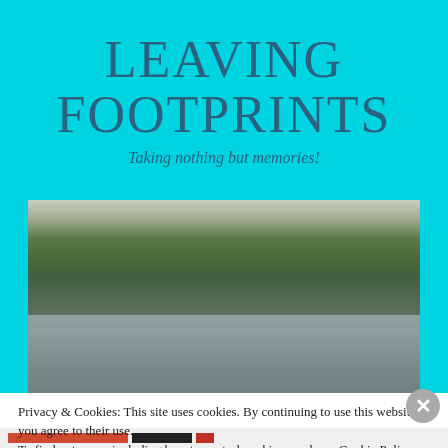LEAVING FOOTPRINTS
Taking nothing but memories!
[Figure (photo): Landscape photo of a river or wetland at dusk, with trees and vegetation along the banks and still water reflecting the cloudy sky.]
Privacy & Cookies: This site uses cookies. By continuing to use this website, you agree to their use.
To find out more, including how to control cookies, see here: Cookie Policy
Close and accept